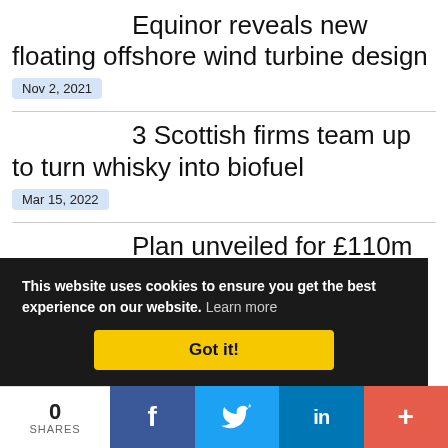Equinor reveals new floating offshore wind turbine design
Nov 2, 2021
3 Scottish firms team up to turn whisky into biofuel
Mar 15, 2022
Plan unveiled for £110m Scottish wind-tower factory
This website uses cookies to ensure you get the best experience on our website. Learn more
Got it!
0 SHARES
f
t
in
+